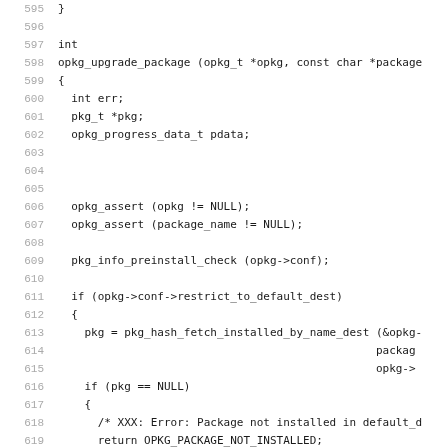[Figure (other): Source code listing in C, lines 595-627, showing the opkg_upgrade_package function definition with local variable declarations, assertions, and conditional pkg_hash_fetch calls.]